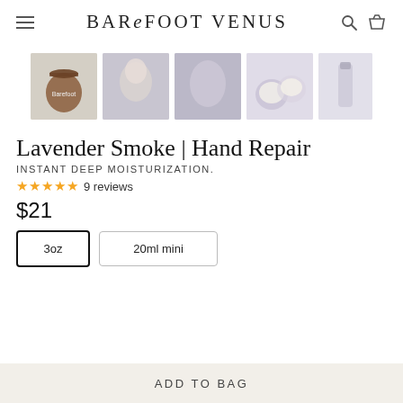BAREFOOT VENUS
[Figure (photo): Row of five product thumbnail images for Lavender Smoke Hand Repair: amber glass jar, woman applying product, woman with lavender, open cream tin, hand cream tube]
Lavender Smoke | Hand Repair
INSTANT DEEP MOISTURIZATION.
★★★★★ 9 reviews
$21
3oz   20ml mini
ADD TO BAG